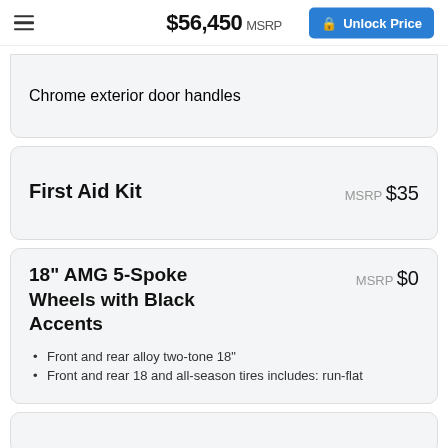$56,450 MSRP   Unlock Price
Chrome exterior door handles
First Aid Kit   MSRP $35
18" AMG 5-Spoke Wheels with Black Accents   MSRP $0
Front and rear alloy two-tone 18"
Front and rear 18 and all-season tires includes: run-flat